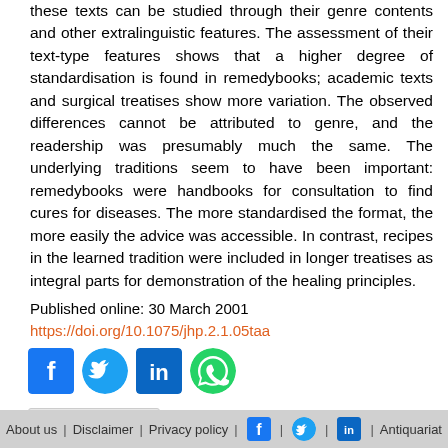these texts can be studied through their genre contents and other extralinguistic features. The assessment of their text-type features shows that a higher degree of standardisation is found in remedybooks; academic texts and surgical treatises show more variation. The observed differences cannot be attributed to genre, and the readership was presumably much the same. The underlying traditions seem to have been important: remedybooks were handbooks for consultation to find cures for diseases. The more standardised the format, the more easily the advice was accessible. In contrast, recipes in the learned tradition were included in longer treatises as integral parts for demonstration of the healing principles.
Published online: 30 March 2001
https://doi.org/10.1075/jhp.2.1.05taa
[Figure (other): Social media sharing icons: Facebook, Twitter, LinkedIn, WhatsApp]
▶ CITED BY
About us | Disclaimer | Privacy policy | [Facebook icon] | [Twitter icon] | [LinkedIn icon] | Antiquariat